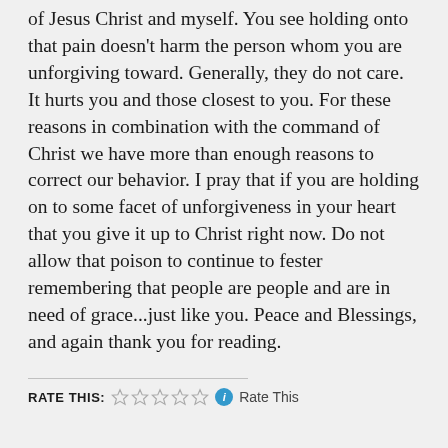of Jesus Christ and myself. You see holding onto that pain doesn't harm the person whom you are unforgiving toward. Generally, they do not care. It hurts you and those closest to you. For these reasons in combination with the command of Christ we have more than enough reasons to correct our behavior. I pray that if you are holding on to some facet of unforgiveness in your heart that you give it up to Christ right now. Do not allow that poison to continue to fester remembering that people are people and are in need of grace...just like you. Peace and Blessings, and again thank you for reading.
RATE THIS: ☆☆☆☆☆ ℹ Rate This